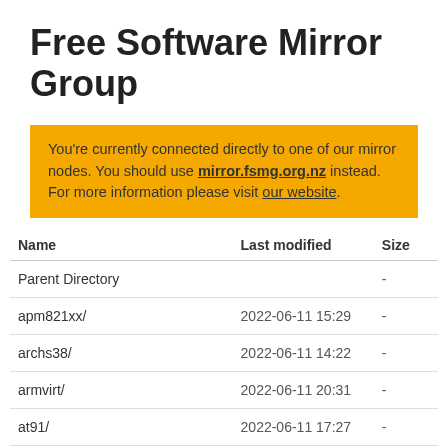Free Software Mirror Group
You're currently connected directly to one of our mirror nodes. You should use mirror.fsmg.org.nz instead. For more information please visit our website.
| Name | Last modified | Size |
| --- | --- | --- |
| Parent Directory |  | - |
| apm821xx/ | 2022-06-11 15:29 | - |
| archs38/ | 2022-06-11 14:22 | - |
| armvirt/ | 2022-06-11 20:31 | - |
| at91/ | 2022-06-11 17:27 | - |